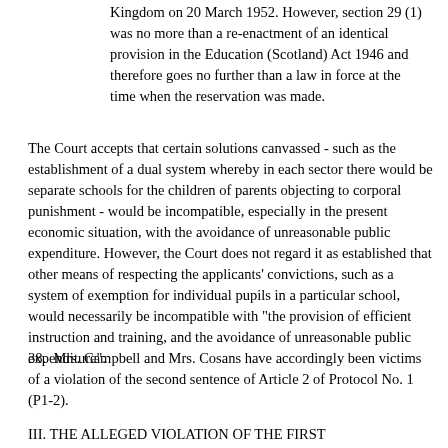Kingdom on 20 March 1952. However, section 29 (1) was no more than a re-enactment of an identical provision in the Education (Scotland) Act 1946 and therefore goes no further than a law in force at the time when the reservation was made.
The Court accepts that certain solutions canvassed - such as the establishment of a dual system whereby in each sector there would be separate schools for the children of parents objecting to corporal punishment - would be incompatible, especially in the present economic situation, with the avoidance of unreasonable public expenditure. However, the Court does not regard it as established that other means of respecting the applicants' convictions, such as a system of exemption for individual pupils in a particular school, would necessarily be incompatible with "the provision of efficient instruction and training, and the avoidance of unreasonable public expenditure".
38. Mrs. Campbell and Mrs. Cosans have accordingly been victims of a violation of the second sentence of Article 2 of Protocol No. 1 (P1-2).
III. THE ALLEGED VIOLATION OF THE FIRST